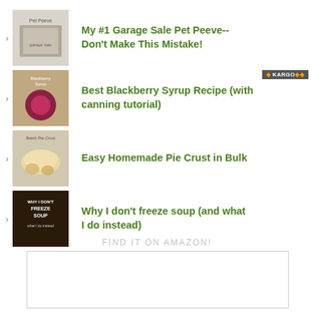My #1 Garage Sale Pet Peeve-- Don't Make This Mistake!
Best Blackberry Syrup Recipe (with canning tutorial)
Easy Homemade Pie Crust in Bulk
Why I don't freeze soup (and what I do instead)
FIND IT ON AMAZON!